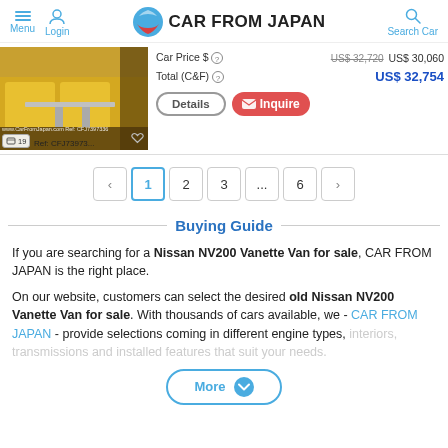Menu | Login | CAR FROM JAPAN | Search Car
[Figure (photo): Interior photo of a van showing yellow/gold seating and a table, with watermark www.CarFromJapan.com Ref: CFJ7397336]
Car Price $ [info icon]  US$ 32,720 (strikethrough)  US$ 30,060
Total (C&F) [info icon]  US$ 32,754
Details [button]  Inquire [button]
[19] Ref: CFJ73973... [heart icon]
‹ 1 2 3 ... 6 ›
Buying Guide
If you are searching for a Nissan NV200 Vanette Van for sale, CAR FROM JAPAN is the right place.
On our website, customers can select the desired old Nissan NV200 Vanette Van for sale. With thousands of cars available, we - CAR FROM JAPAN - provide selections coming in different engine types, interiors, transmissions and installed features that suit your needs.
More [expand button]